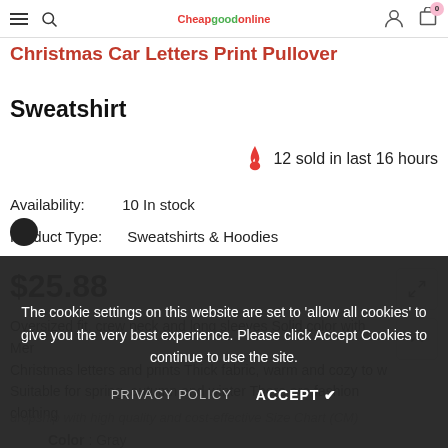Christmas Car Letters Print Pullover — Cheapgoodonline navigation header with menu, search, logo, user, cart
Christmas Car Letters Print Pullover Sweatshirt
12 sold in last 16 hours
Availability: 10 In stock
Product Type: Sweatshirts & Hoodies
$25.88
Oversized fit, crew neck and long sleeves Solid color with Merry Christmas letters and prints Thick fabric, warm and cozy to w... Suitable for spring, autumn and winter There are fashion clothing dropship with high quality and cost-effective Size Chart (CM)
Color: Gray
The cookie settings on this website are set to 'allow all cookies' to give you the very best experience. Please click Accept Cookies to continue to use the site.
PRIVACY POLICY   ACCEPT ✔